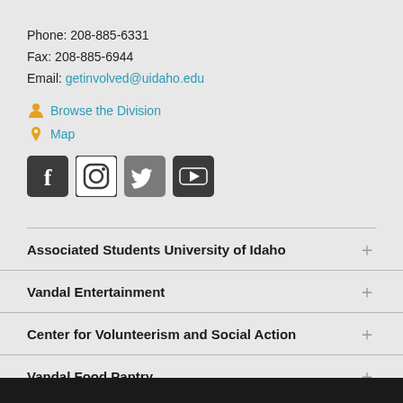Phone: 208-885-6331
Fax: 208-885-6944
Email: getinvolved@uidaho.edu
Browse the Division
Map
[Figure (other): Social media icons: Facebook, Instagram, Twitter, YouTube]
Associated Students University of Idaho
Vandal Entertainment
Center for Volunteerism and Social Action
Vandal Food Pantry
Student Media